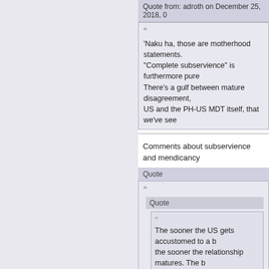Quote from: adroth on December 25, 2018, 0...
'Naku ha, those are motherhood statements. "Complete subservience" is furthermore pure... There's a gulf between mature disagreement, US and the PH-US MDT itself, that we've see...
Comments about subservience and mendicancy...
Quote
Quote
The sooner the US gets accustomed to a b... the sooner the relationship matures. The b...
More motherhood statements and straw? The Philippines HAS been going its own way... again, never with the childish level of scorn to... we've seen from the highest level of PH.gov.
You are partly correct in saying that Philippines... arsed departure from precedent because it was o... Manglapus was pushing for an extension of the U...
The Executive department never wrapped its hea... the government continued to fund the AFP conse... Pentagon's coffers.